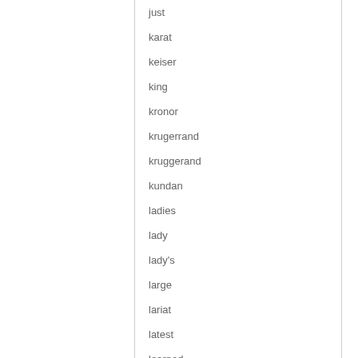just
karat
keiser
king
kronor
krugerrand
kruggerand
kundan
ladies
lady
lady's
large
lariat
latest
learned
liberty